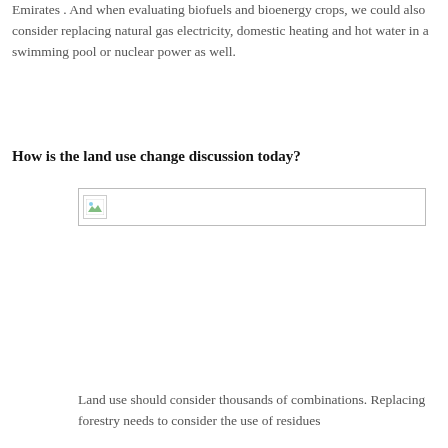Emirates . And when evaluating biofuels and bioenergy crops, we could also consider replacing natural gas electricity, domestic heating and hot water in a swimming pool or nuclear power as well.
How is the land use change discussion today?
[Figure (photo): A broken/missing image placeholder with a small landscape icon thumbnail in the top-left corner of a bordered rectangle.]
Land use should consider thousands of combinations. Replacing forestry needs to consider the use of residues